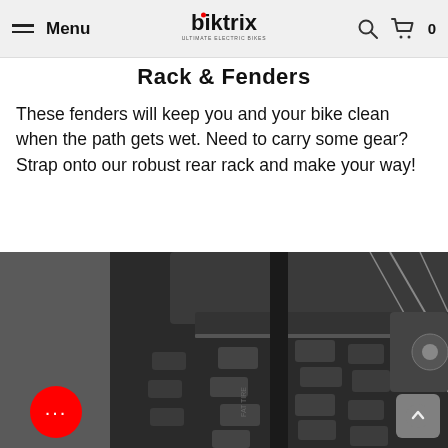Menu | biktrix (logo) | search | cart 0
Rack & Fenders
These fenders will keep you and your bike clean when the path gets wet. Need to carry some gear? Strap onto our robust rear rack and make your way!
[Figure (photo): Close-up photo of a fat-tire electric bike wheel with a dark fender above the knobby tire, and bike spokes visible on the right side.]